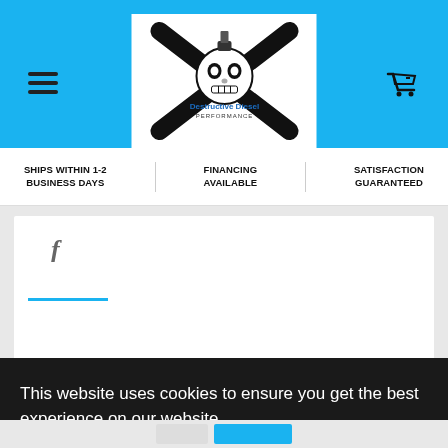[Figure (logo): Destructive Diesel Performance logo — skull with crossed wrenches/bolts, black and white illustration with blue text]
SHIPS WITHIN 1-2 BUSINESS DAYS
FINANCING AVAILABLE
SATISFACTION GUARANTEED
This website uses cookies to ensure you get the best experience on our website.
Learn more
Got it!